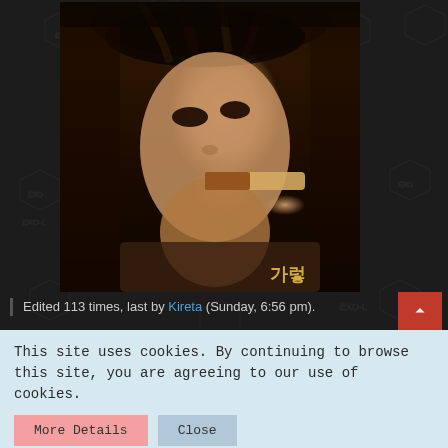[Figure (photo): A person eating a chocolate-dipped cookie/biscuit, dark background with EXO watermark pattern. Korean characters visible in bottom right corner of photo.]
Edited 113 times, last by Kireta (Sunday, 6:56 pm).
❤ ×27  👍 ×8  😮 ×1
This site uses cookies. By continuing to browse this site, you are agreeing to our use of cookies.
More Details   Close